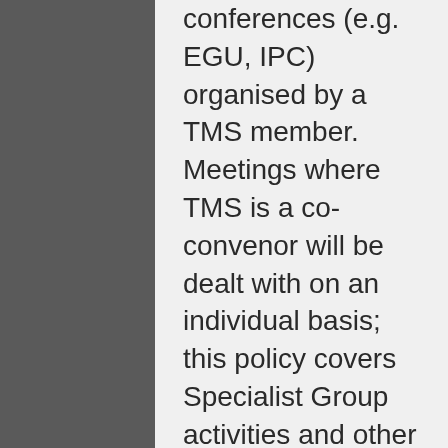conferences (e.g. EGU, IPC) organised by a TMS member.  Meetings where TMS is a co-convenor will be dealt with on an individual basis; this policy covers Specialist Group activities and other scientific meetings or symposia where TMS is not a co-convenor.  Meeting or session organisers applying for support would normally be TMS members and the obtained funds can be used for activities such as inviting keynote speakers, sponsoring special sessions, awarding prizes for postgraduate student or early career researcher talks and posters (certificate template available below), or sponsoring postgraduate student attendance.
Support of TMS Specialist Group or topical meetings
Sponsorship of meetings where TMS is not a co-convenor